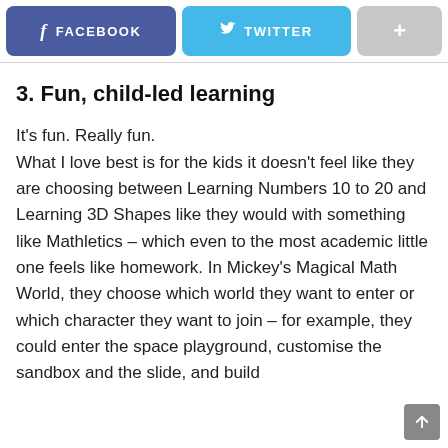[Figure (other): Social sharing buttons row: Facebook (blue-purple), Twitter (light blue), and a plus button (grey)]
3. Fun, child-led learning
It's fun. Really fun.
What I love best is for the kids it doesn't feel like they are choosing between Learning Numbers 10 to 20 and Learning 3D Shapes like they would with something like Mathletics – which even to the most academic little one feels like homework. In Mickey's Magical Math World, they choose which world they want to enter or which character they want to join – for example, they could enter the space playground, customise the sandbox and the slide, and build